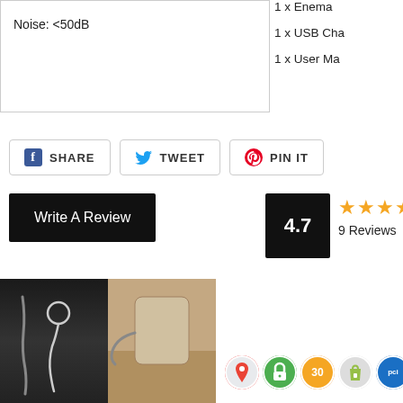Noise: <50dB
1 x Enema
1 x USB Cha
1 x User Ma
SHARE
TWEET
PIN IT
Write A Review
4.7
9 Reviews
[Figure (photo): Product photo showing two views of a device, left side dark/black background with swirl design, right side tan/beige background]
[Figure (infographic): Row of trust/badge icons: Google Maps pin, green lock/security badge, orange 30-day badge, Shopify bag icon, PCI compliance badge]